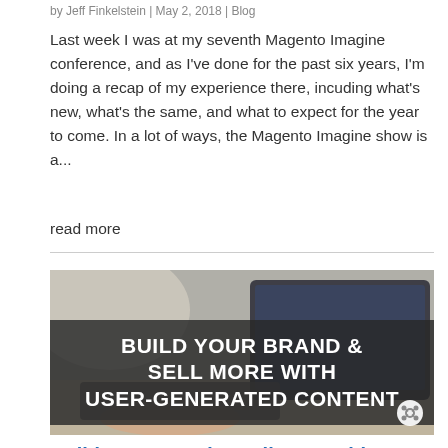by Jeff Finkelstein | May 2, 2018 | Blog
Last week I was at my seventh Magento Imagine conference, and as I've done for the past six years, I'm doing a recap of my experience there, incuding what's new, what's the same, and what to expect for the year to come. In a lot of ways, the Magento Imagine show is a...
read more
[Figure (photo): Banner image for blog post: person typing on a laptop with text overlay reading BUILD YOUR BRAND & SELL MORE WITH USER-GENERATED CONTENT, and a logo badge in the bottom right corner.]
Build Your Brand & Sell More with User-Generated Content